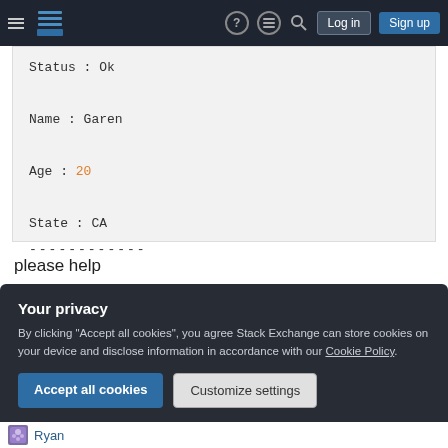Stack Exchange navigation bar with hamburger menu, logo, help, chat, search, Log in, Sign up
Status : Ok
Name : Garen
Age : 20
State : CA
------------
please help
Thanks
awk
Your privacy
By clicking "Accept all cookies", you agree Stack Exchange can store cookies on your device and disclose information in accordance with our Cookie Policy.
Accept all cookies
Customize settings
Ryan